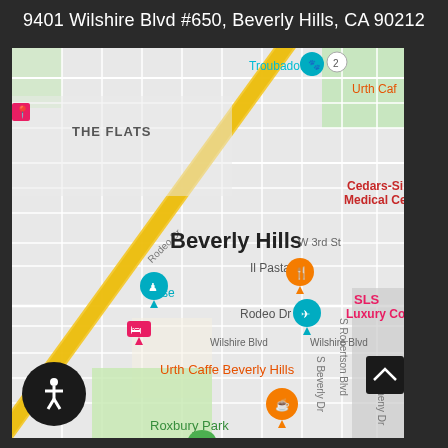9401 Wilshire Blvd #650, Beverly Hills, CA 90212
[Figure (map): Google Maps screenshot showing Beverly Hills area centered around Wilshire Blvd. Visible landmarks include Troubadour, Urth Cafe, Cedars-Sinai Medical Center, SLS Luxury Collection, Il Pastaio, Rodeo Dr, Urth Caffe Beverly Hills, Roxbury Park, Beverly Hills Marriott. Major streets visible: Beverly Blvd, Wilshire Blvd, W 3rd St, Rodeo Dr, S Beverly Dr, S Doheny Dr, S Robertson Blvd. THE FLATS neighborhood is labeled. A diagonal yellow highlighted road (bus/transit route) runs through the center of the map.]